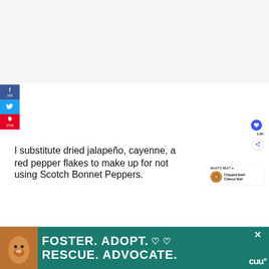[Figure (screenshot): Light gray/white rectangular area at top of page, appears to be an ad or image placeholder area]
f 105
Twitter share button
p 2759
I substitute dried jalapeño, cayenne, and red pepper flakes to make up for not using Scotch Bonnet Peppers.
[Figure (infographic): Heart icon button showing 2.9K likes, and a share icon button, floating on right side. Also a 'What's Next' card showing 'Chipped Beef Cheese Ball' with a food photo.]
[Figure (infographic): Advertisement banner at bottom: green background with dog photo, text 'FOSTER. ADOPT. RESCUE. ADVOCATE.' with heart symbols and close button]